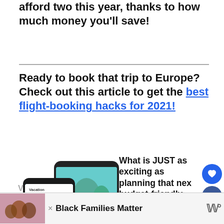afford two this year, thanks to how much money you'll save!
Ready to book that trip to Europe? Check out this article to get the best flight-booking hacks for 2021!
[Figure (photo): Two smartphones showing the Vacation app with countdown timers and travel imagery]
What is JUST as exciting as planning that next budget-friendly vacation you've been waiting for? The days leading... Start your Europe countdown with the
[Figure (photo): Black Families Matter ad with photo of smiling family]
Black Families Matter